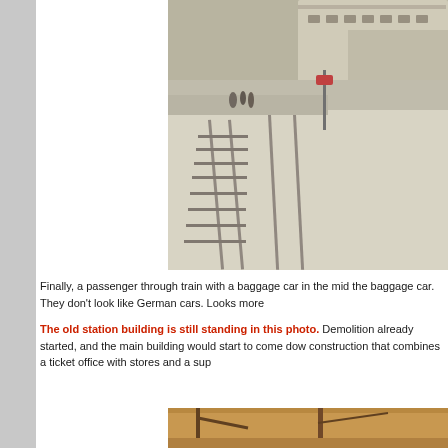[Figure (photo): Black and white photograph of a railway station platform with a passenger through train. A train with a baggage car is visible on the right side. People stand on the snow-covered platform on the left. Railway tracks and a signal pole are visible.]
Finally, a passenger through train with a baggage car in the mid the baggage car. They don't look like German cars. Looks more
The old station building is still standing in this photo. Demolition already started, and the main building would start to come dow construction that combines a ticket office with stores and a sup
[Figure (photo): Partial photo at the bottom of the page showing what appears to be a railway station structure or signal equipment with an orange/brown color tone.]